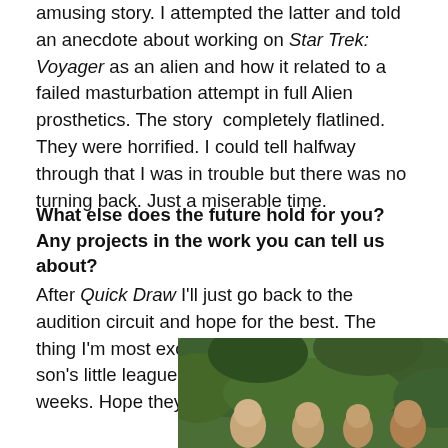amusing story. I attempted the latter and told an anecdote about working on Star Trek: Voyager as an alien and how it related to a failed masturbation attempt in full Alien prosthetics. The story  completely flatlined. They were horrified. I could tell halfway through that I was in trouble but there was no turning back. Just a miserable time.
What else does the future hold for you?  Any projects in the work you can tell us about?
After Quick Draw I'll just go back to the audition circuit and hope for the best. The thing I'm most excited about is coaching my son's little league team which starts in a few weeks. Hope they don't eat me alive.
[Figure (photo): Group photo of people outdoors in front of green foliage/bushes]